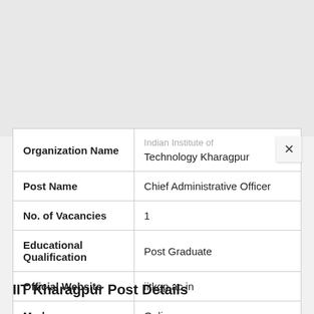| Field | Value |
| --- | --- |
| Organization Name | Indian Institute of Technology Kharagpur |
| Post Name | Chief Administrative Officer |
| No. of Vacancies | 1 |
| Educational Qualification | Post Graduate |
| Official Website | iitkgp.ac.in |
| Mode | Online |
IIT Kharagpur Post Details